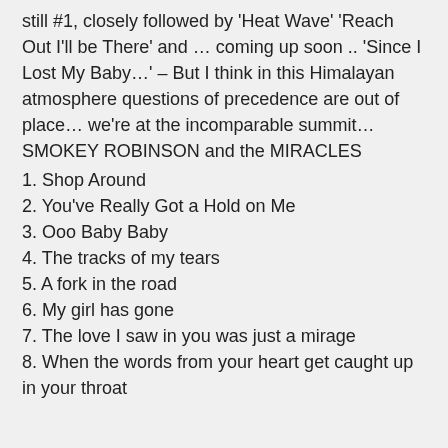still #1, closely followed by 'Heat Wave' 'Reach Out I'll be There' and … coming up soon .. 'Since I Lost My Baby…' – But I think in this Himalayan atmosphere questions of precedence are out of place… we're at the incomparable summit… SMOKEY ROBINSON and the MIRACLES
1. Shop Around
2. You've Really Got a Hold on Me
3. Ooo Baby Baby
4. The tracks of my tears
5. A fork in the road
6. My girl has gone
7. The love I saw in you was just a mirage
8. When the words from your heart get caught up in your throat